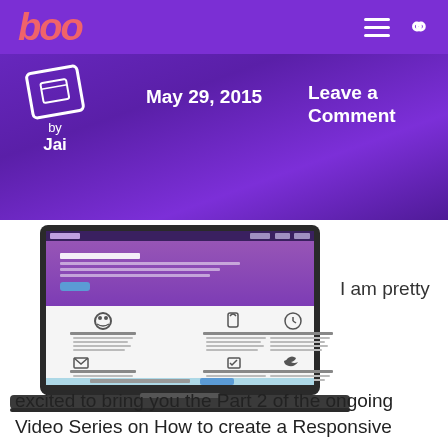bob — May 29, 2015 — by Jai — Leave a Comment
[Figure (screenshot): Screenshot of a WordPress theme displayed on a laptop, showing a hero section with purple gradient background and feature icons below (User Friendly, Fully Secure, Timely Support, E-mail Support, Theme Options, Social tools), with a call-to-action bar at the bottom.]
I am pretty excited to bring you the Part 2 of the ongoing Video Series on How to create a Responsive